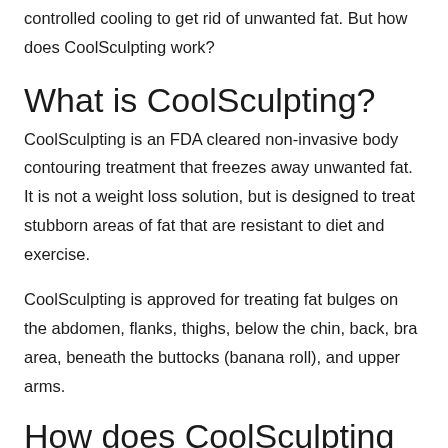controlled cooling to get rid of unwanted fat. But how does CoolSculpting work?
What is CoolSculpting?
CoolSculpting is an FDA cleared non-invasive body contouring treatment that freezes away unwanted fat. It is not a weight loss solution, but is designed to treat stubborn areas of fat that are resistant to diet and exercise.
CoolSculpting is approved for treating fat bulges on the abdomen, flanks, thighs, below the chin, back, bra area, beneath the buttocks (banana roll), and upper arms.
How does CoolSculpting work?